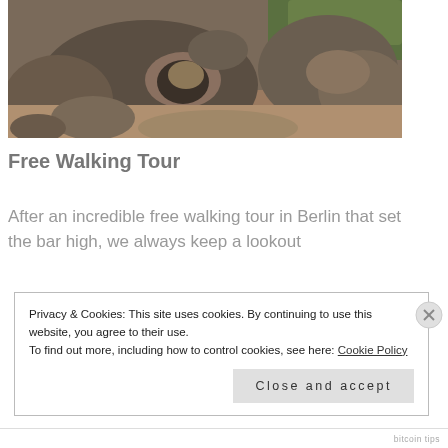[Figure (photo): Outdoor scene showing large stone rock formation with an archway/tunnel opening, surrounded by hay/straw ground cover and natural landscape elements, likely a zoo animal enclosure.]
Free Walking Tour
After an incredible free walking tour in Berlin that set the bar high, we always keep a lookout
Privacy & Cookies: This site uses cookies. By continuing to use this website, you agree to their use.
To find out more, including how to control cookies, see here: Cookie Policy
Close and accept